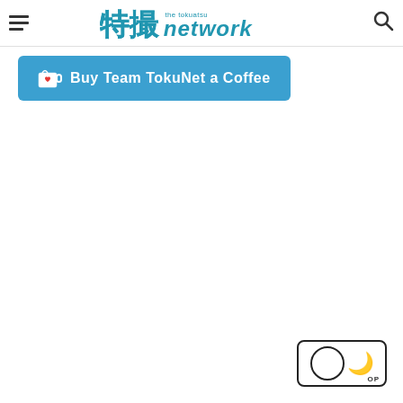The Tokuatsu Network — site header with hamburger menu, logo, and search icon
Buy Team TokuNet a Coffee
[Figure (other): Dark mode / light mode toggle button with circle toggle and moon icon, with TOP label]